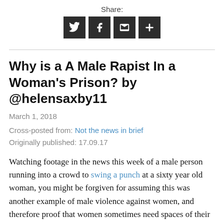[Figure (other): Share buttons: Twitter, Facebook, Email, and More (+) icons on dark square backgrounds, with 'Share:' label above]
Why is a A Male Rapist In a Woman's Prison? by @helensaxby11
March 1, 2018
Cross-posted from: Not the news in brief
Originally published: 17.09.17
Watching footage in the news this week of a male person running into a crowd to swing a punch at a sixty year old woman, you might be forgiven for assuming this was another example of male violence against women, and therefore proof that women sometimes need spaces of their own, in order to stay